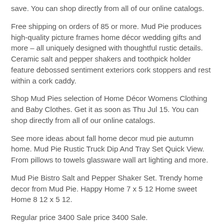save. You can shop directly from all of our online catalogs.
Free shipping on orders of 85 or more. Mud Pie produces high-quality picture frames home décor wedding gifts and more – all uniquely designed with thoughtful rustic details. Ceramic salt and pepper shakers and toothpick holder feature debossed sentiment exteriors cork stoppers and rest within a cork caddy.
Shop Mud Pies selection of Home Décor Womens Clothing and Baby Clothes. Get it as soon as Thu Jul 15. You can shop directly from all of our online catalogs.
See more ideas about fall home decor mud pie autumn home. Mud Pie Rustic Truck Dip And Tray Set Quick View. From pillows to towels glassware wall art lighting and more.
Mud Pie Bistro Salt and Pepper Shaker Set. Trendy home decor from Mud Pie. Happy Home 7 x 5 12 Home sweet Home 8 12 x 5 12.
Regular price 3400 Sale price 3400 Sale.